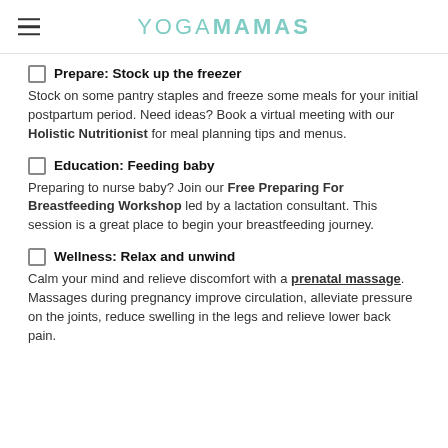YOGAMAMAS
Prepare: Stock up the freezer
Stock on some pantry staples and freeze some meals for your initial postpartum period. Need ideas? Book a virtual meeting with our Holistic Nutritionist for meal planning tips and menus.
Education: Feeding baby
Preparing to nurse baby? Join our Free Preparing For Breastfeeding Workshop led by a lactation consultant. This session is a great place to begin your breastfeeding journey.
Wellness: Relax and unwind
Calm your mind and relieve discomfort with a prenatal massage. Massages during pregnancy improve circulation, alleviate pressure on the joints, reduce swelling in the legs and relieve lower back pain.